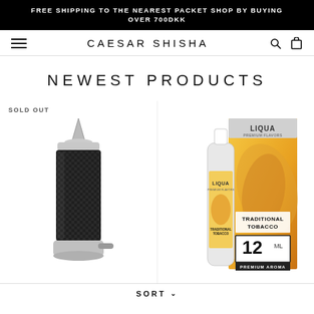FREE SHIPPING TO THE NEAREST PACKET SHOP BY BUYING OVER 700DKK
CAESAR SHISHA
NEWEST PRODUCTS
[Figure (photo): Black carbon fiber shisha bowl/head device with silver top and bottom, cylindrical shape with a small nozzle at the bottom right]
[Figure (photo): LIQUA Premium Flavors Traditional Tobacco 12ml e-liquid bottle and box product shot with autumn leaf imagery]